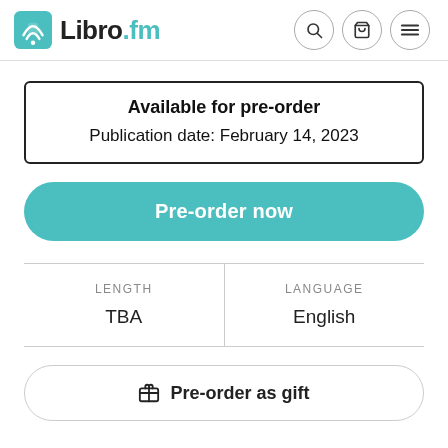Libro.fm
Available for pre-order
Publication date: February 14, 2023
Pre-order now
| LENGTH | LANGUAGE |
| --- | --- |
| TBA | English |
Pre-order as gift